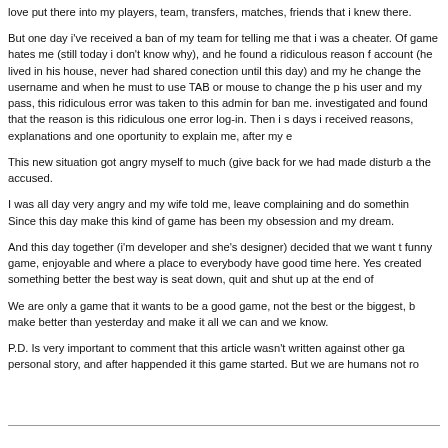love put there into my players, team, transfers, matches, friends that i knew there.
But one day i've received a ban of my team for telling me that i was a cheater. Of game hates me (still today i don't know why), and he found a ridiculous reason f account (he lived in his house, never had shared conection until this day) and my he change the username and when he must to use TAB or mouse to change the p his user and my pass, this ridiculous error was taken to this admin for ban me. investigated and found that the reason is this ridiculous one error log-in. Then i s days i received reasons, explanations and one oportunity to explain me, after my e
This new situation got angry myself to much (give back for we had made disturb a the accused.
I was all day very angry and my wife told me, leave complaining and do somethin Since this day make this kind of game has been my obsession and my dream.
And this day together (i'm developer and she's designer) decided that we want t funny game, enjoyable and where a place to everybody have good time here. Yes created something better the best way is seat down, quit and shut up at the end of
We are only a game that it wants to be a good game, not the best or the biggest, b make better than yesterday and make it all we can and we know.
P.D. Is very important to comment that this article wasn't written against other ga personal story, and after happended it this game started. But we are humans not ro